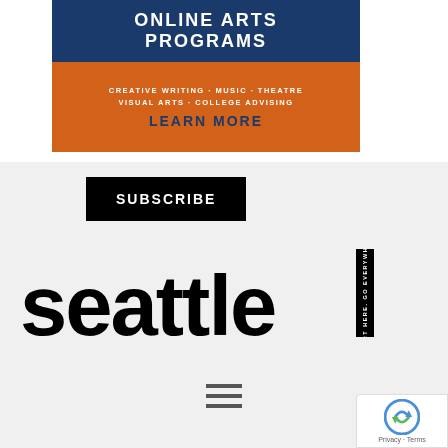[Figure (illustration): Advertisement banner for Online Arts Programs with blue top section showing 'ONLINE ARTS PROGRAMS' and orange bottom section listing Creative Writing, Music, Theatre, Visual Arts, College Advising with a LEARN MORE call to action]
SUBSCRIBE
[Figure (logo): Seattle Met magazine logo in large bold black lowercase letters 'seattle' with a vertical black bar containing rotated text 'START HERE. GO EVERYWHERE']
[Figure (illustration): Hamburger menu icon with three horizontal bars]
[Figure (other): reCAPTCHA badge showing Privacy - Terms]